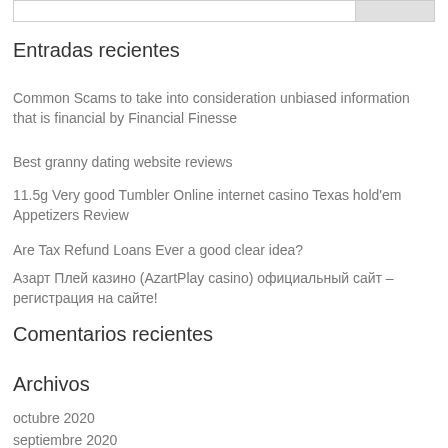Entradas recientes
Common Scams to take into consideration unbiased information that is financial by Financial Finesse
Best granny dating website reviews
11.5g Very good Tumbler Online internet casino Texas hold'em Appetizers Review
Are Tax Refund Loans Ever a good clear idea?
Азарт Плей казино (AzartPlay casino) официальный сайт – регистрация на сайте!
Comentarios recientes
Archivos
octubre 2020
septiembre 2020